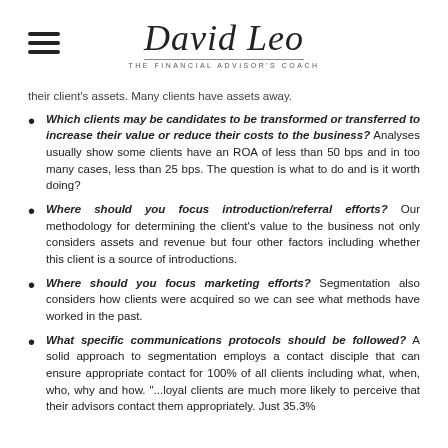David Leo – The Financial Advisor's Coach
their client's assets. Many clients have assets away.
Which clients may be candidates to be transformed or transferred to increase their value or reduce their costs to the business? Analyses usually show some clients have an ROA of less than 50 bps and in too many cases, less than 25 bps. The question is what to do and is it worth doing?
Where should you focus introduction/referral efforts? Our methodology for determining the client's value to the business not only considers assets and revenue but four other factors including whether this client is a source of introductions.
Where should you focus marketing efforts? Segmentation also considers how clients were acquired so we can see what methods have worked in the past.
What specific communications protocols should be followed? A solid approach to segmentation employs a contact disciple that can ensure appropriate contact for 100% of all clients including what, when, who, why and how. "...loyal clients are much more likely to perceive that their advisors contact them appropriately. Just 35.3%